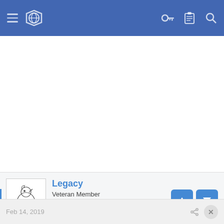Navigation bar with hamburger menu, globe icon, key icon, clipboard icon, search icon
[Figure (screenshot): White empty content area]
Legacy
Veteran Member
Jul 27, 2015   8,969
Feb 14, 2019